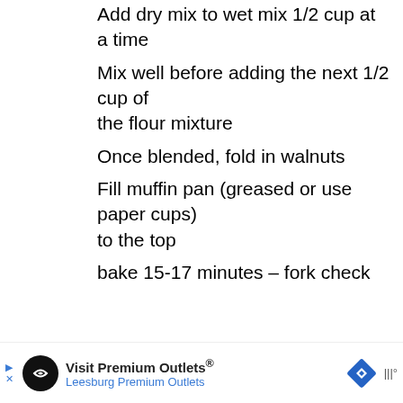Add dry mix to wet mix 1/2 cup at a time
Mix well before adding the next 1/2 cup of the flour mixture
Once blended, fold in walnuts
Fill muffin pan (greased or use paper cups) to the top
bake 15-17 minutes – fork check
Reply
Carrie H says
Visit Premium Outlets® Leesburg Premium Outlets